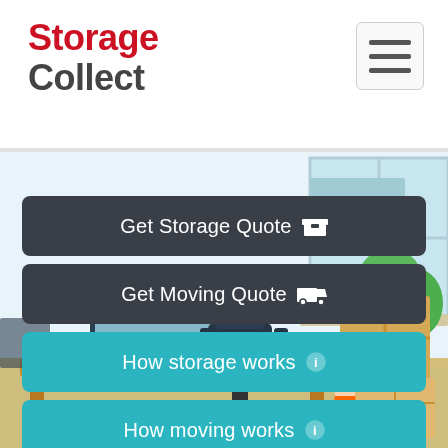Storage Collect
[Figure (screenshot): Mobile website screenshot of StorageCollect homepage showing an illustrated office room background with a desk, chair, computer monitor, cardboard boxes, and a traffic cone. Four navigation buttons are overlaid on the image.]
Get Storage Quote
Get Moving Quote
How storage works
How moving works